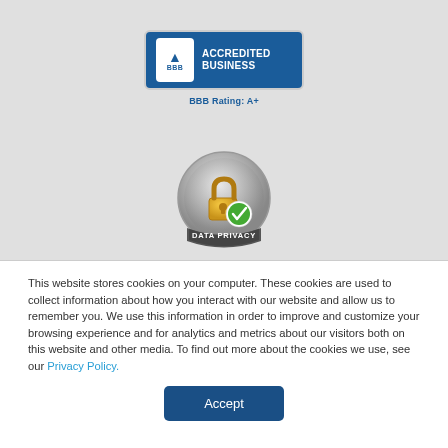[Figure (logo): BBB Accredited Business badge with A+ rating]
[Figure (logo): Data Privacy shield/lock badge]
This website stores cookies on your computer. These cookies are used to collect information about how you interact with our website and allow us to remember you. We use this information in order to improve and customize your browsing experience and for analytics and metrics about our visitors both on this website and other media. To find out more about the cookies we use, see our Privacy Policy.
[Figure (other): Accept button]